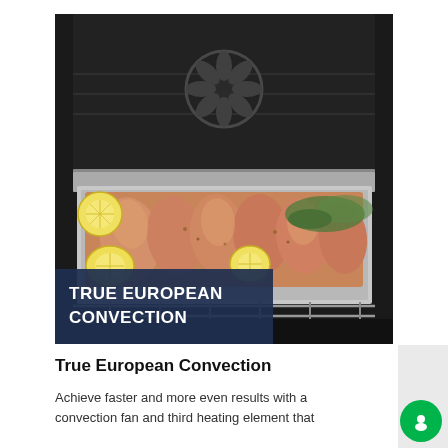[Figure (photo): Photo of salmon fillets with lemon slices on a baking sheet inside an oven, with a dark navy overlay banner reading TRUE EUROPEAN CONVECTION in bold white capital letters.]
True European Convection
Achieve faster and more even results with a convection fan and third heating element that